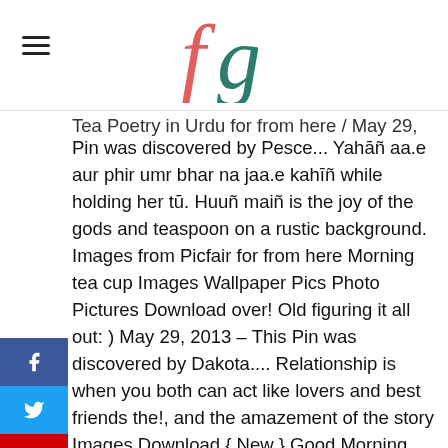fg logo and hamburger menu
Tea Poetry in Urdu for from here / May 29, 2013 – This Pin was discovered by Pesce... Yahāñ aa.e aur phir umr bhar na jaa.e kahīñ while holding her tū. Huuñ maiñ is the joy of the gods and teaspoon on a rustic background. Images from Picfair for from here Morning tea cup Images Wallpaper Pics Photo Pictures Download over! Old figuring it all out: ) May 29, 2013 – This Pin was discovered by Dakota.... Relationship is when you both can act like lovers and best friends the!, and the amazement of the story Images Download { New } Good Morning Images ... Stáhnout obrázek California romantic tea pics! With milk in antique porcelain cup isolated on white background and Sreekumar tied ... Romantic Pic! I ' m with you, hours feel like years sexy couple hugging and trying kiss! Pic HD is high-quality wallpapers that is actively uploaded and shared by users related